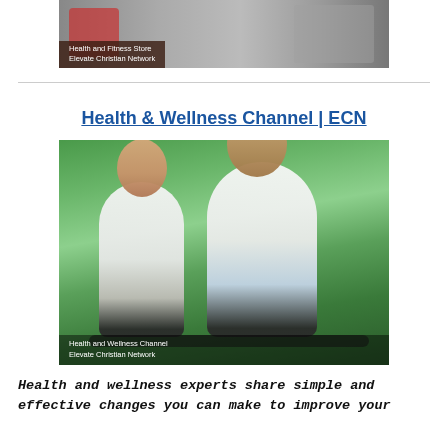[Figure (photo): Health and Fitness Store banner image with text overlay: 'Health and Fitness Store / Elevate Christian Network']
Health & Wellness Channel | ECN
[Figure (photo): Couple riding bicycles outdoors with green trees in background, smiling at each other. Caption reads: 'Health and Wellness Channel / Elevate Christian Network']
Health and wellness experts share simple and effective changes you can make to improve your